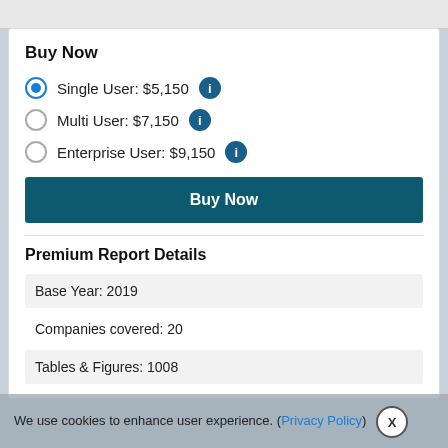Buy Now
Single User: $5,150 (selected)
Multi User: $7,150
Enterprise User: $9,150
Buy Now (button)
Premium Report Details
Base Year: 2019
Companies covered: 20
Tables & Figures: 1008
We use cookies to enhance user experience. (Privacy Policy) X